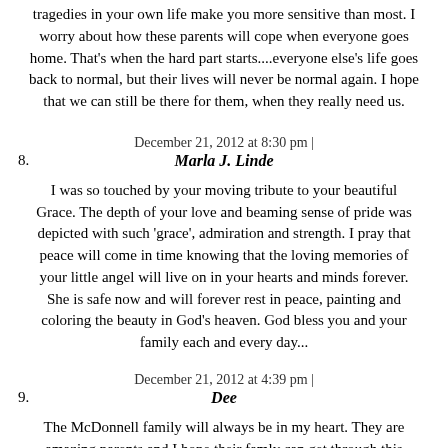tragedies in your own life make you more sensitive than most. I worry about how these parents will cope when everyone goes home. That's when the hard part starts....everyone else's life goes back to normal, but their lives will never be normal again. I hope that we can still be there for them, when they really need us.
December 21, 2012 at 8:30 pm |
8. Marla J. Linde
I was so touched by your moving tribute to your beautiful Grace. The depth of your love and beaming sense of pride was depicted with such 'grace', admiration and strength. I pray that peace will come in time knowing that the loving memories of your little angel will live on in your hearts and minds forever. She is safe now and will forever rest in peace, painting and coloring the beauty in God's heaven. God bless you and your family each and every day...
December 21, 2012 at 4:39 pm |
9. Dee
The McDonnell family will always be in my heart. They are amazing parents and I hope their famly can get through this terrible loss. I will always remember Grace and keep all of